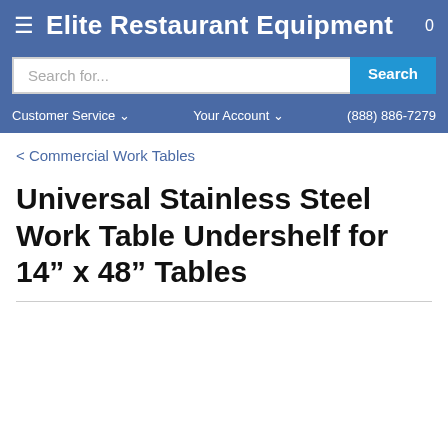≡ Elite Restaurant Equipment  0
Search for...
Customer Service ∨  Your Account ∨  (888) 886-7279
< Commercial Work Tables
Universal Stainless Steel Work Table Undershelf for 14" x 48" Tables